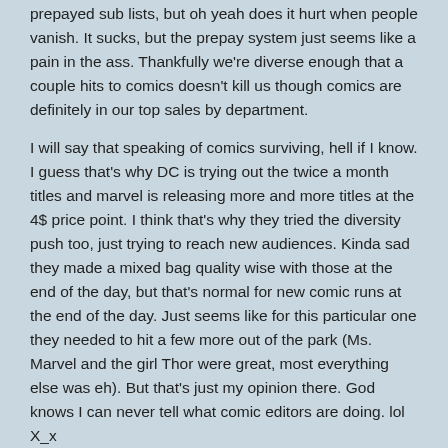prepayed sub lists, but oh yeah does it hurt when people vanish. It sucks, but the prepay system just seems like a pain in the ass. Thankfully we're diverse enough that a couple hits to comics doesn't kill us though comics are definitely in our top sales by department.
I will say that speaking of comics surviving, hell if I know. I guess that's why DC is trying out the twice a month titles and marvel is releasing more and more titles at the 4$ price point. I think that's why they tried the diversity push too, just trying to reach new audiences. Kinda sad they made a mixed bag quality wise with those at the end of the day, but that's normal for new comic runs at the end of the day. Just seems like for this particular one they needed to hit a few more out of the park (Ms. Marvel and the girl Thor were great, most everything else was eh). But that's just my opinion there. God knows I can never tell what comic editors are doing. lol X_x
Random Guy   August 31, 2018 @ 12:28